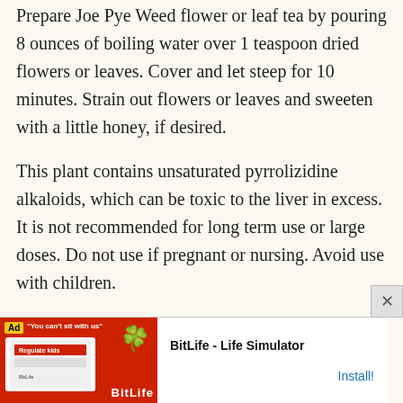Prepare Joe Pye Weed flower or leaf tea by pouring 8 ounces of boiling water over 1 teaspoon dried flowers or leaves. Cover and let steep for 10 minutes. Strain out flowers or leaves and sweeten with a little honey, if desired.
This plant contains unsaturated pyrrolizidine alkaloids, which can be toxic to the liver in excess. It is not recommended for long term use or large doses. Do not use if pregnant or nursing. Avoid use with children.
This post is for general information only, and should not replace a healthcare provider. Always exercise caution when using any wild plants, and make sure you have positively identified the plant.
[Figure (screenshot): Advertisement banner for BitLife - Life Simulator app with red background, showing a phone mockup and install button]